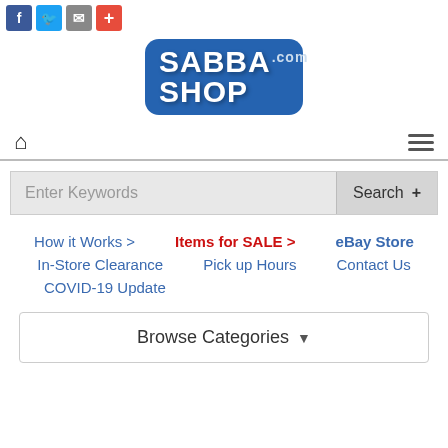[Figure (logo): Social share icons: Facebook (blue), Twitter (light blue), Email (gray), Plus/More (red)]
[Figure (logo): SabbaShop.com logo: blue rounded rectangle with white bold text SABBA SHOP.COM]
[Figure (other): Navigation bar with home icon on left and hamburger menu icon on right, separated by horizontal rule]
Enter Keywords
Search +
How it Works >
Items for SALE >
eBay Store
In-Store Clearance
Pick up Hours
Contact Us
COVID-19 Update
Browse Categories ▾